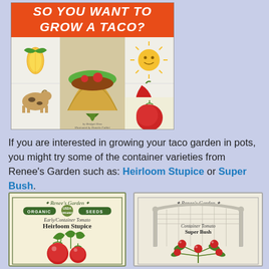[Figure (illustration): Book cover for 'So You Want to Grow a Taco?' with orange background, white bold italic title text, and illustrated panels showing corn, taco, sun, lettuce, cow, chile pepper, and tomato]
If you are interested in growing your taco garden in pots, you might try some of the container varieties from Renee's Garden such as: Heirloom Stupice or Super Bush.
[Figure (illustration): Renee's Garden Organic Seeds packet for Early/Container Tomato Heirloom Stupice with green border and tomato illustration]
[Figure (illustration): Renee's Garden seed packet for Container Tomato Super Bush with garden arch illustration and tomato plant]